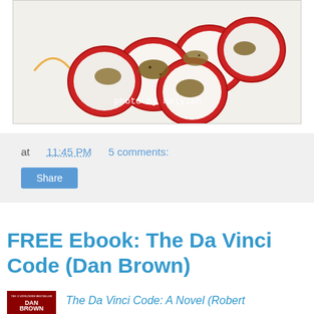[Figure (photo): Sliced radishes with sauce on a white plate, watermark text 'photo by maiylah']
at 11:45 PM   5 comments:
Share
FREE Ebook: The Da Vinci Code (Dan Brown)
[Figure (photo): Book cover of The Da Vinci Code by Dan Brown, dark red cover]
The Da Vinci Code: A Novel (Robert